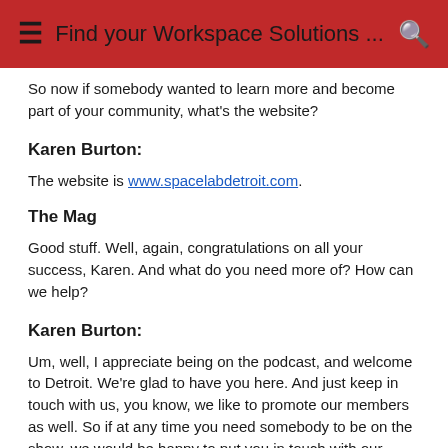Find your Workspace Solutions ...
So now if somebody wanted to learn more and become part of your community, what's the website?
Karen Burton:
The website is www.spacelabdetroit.com.
The Mag
Good stuff. Well, again, congratulations on all your success, Karen. And what do you need more of? How can we help?
Karen Burton:
Um, well, I appreciate being on the podcast, and welcome to Detroit. We're glad to have you here. And just keep in touch with us, you know, we like to promote our members as well. So if at any time you need somebody to be on the show, we would be happy to put you in touch with our SpaceLab Detroit members as well.